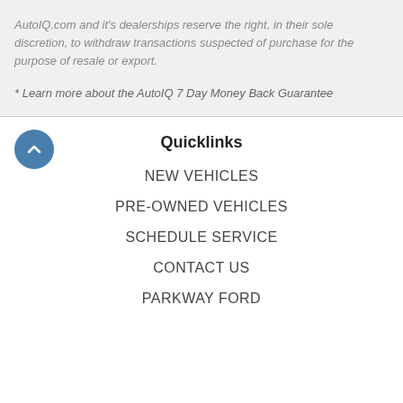AutoIQ.com and it's dealerships reserve the right, in their sole discretion, to withdraw transactions suspected of purchase for the purpose of resale or export.
* Learn more about the AutoIQ 7 Day Money Back Guarantee
Quicklinks
NEW VEHICLES
PRE-OWNED VEHICLES
SCHEDULE SERVICE
CONTACT US
PARKWAY FORD